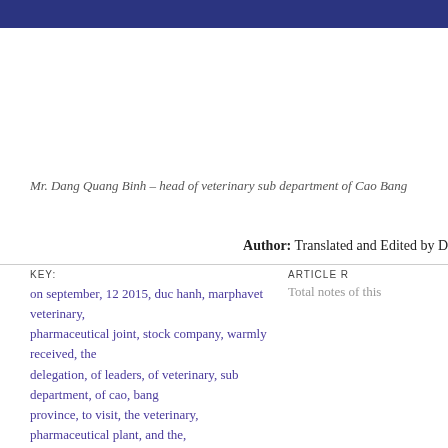Mr. Dang Quang Binh – head of veterinary sub department of Cao Bang
Author: Translated and Edited by D
KEY:
on september, 12 2015, duc hanh, marphavet veterinary, pharmaceutical joint, stock company, warmly received, the delegation, of leaders, of veterinary, sub department, of cao, bang province, to visit, the veterinary, pharmaceutical plant, and the, vaccine veterinary, manufacturing plant, meeting standards, of gmp, who and, exchanged some, of other
ARTICLE R
Total notes of this
Newer articles
Tourism association of Pho Yen town visits to Duc Hanh BMG Group in th